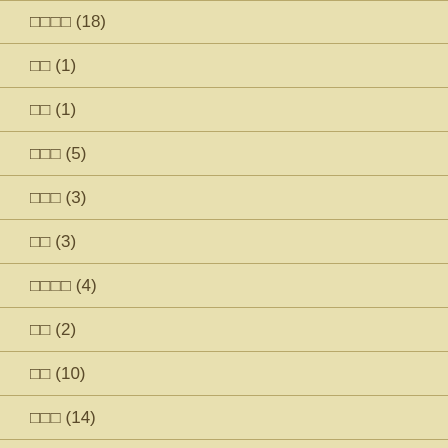□□□□ (18)
□□ (1)
□□ (1)
□□□ (5)
□□□ (3)
□□ (3)
□□□□ (4)
□□ (2)
□□ (10)
□□□ (14)